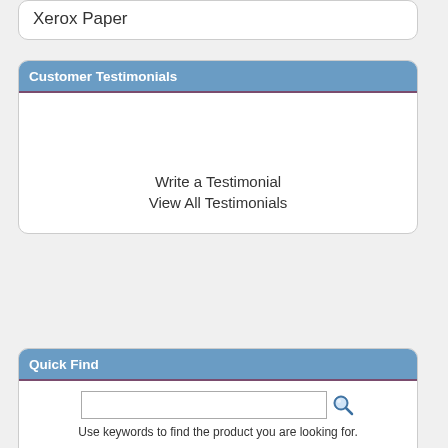Xerox Paper
Customer Testimonials
Write a Testimonial
View All Testimonials
Quick Find
Use keywords to find the product you are looking for.
Advanced Search